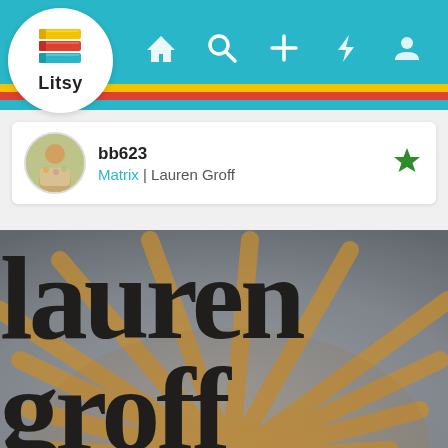[Figure (screenshot): Litsy app navigation bar with teal background, logo circle (stacked books icon with 'Litsy' text), and nav icons (home, search, plus, activity, profile). Yellow, red, and teal horizontal stripes at bottom of bar.]
bb623
Matrix | Lauren Groff
[Figure (photo): Close-up of the book cover of 'Matrix' by Lauren Groff, showing large decorative serif text 'lauren groff' in black with gold/ochre radiating line art background on grey.]